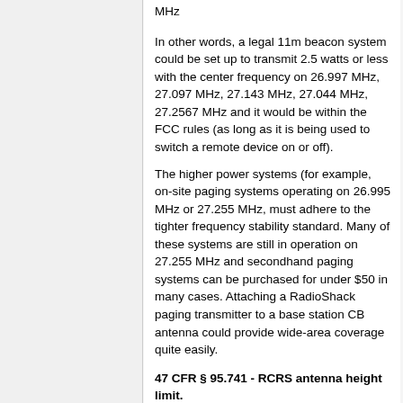MHz
In other words, a legal 11m beacon system could be set up to transmit 2.5 watts or less with the center frequency on 26.997 MHz, 27.097 MHz, 27.143 MHz, 27.044 MHz, 27.2567 MHz and it would be within the FCC rules (as long as it is being used to switch a remote device on or off).
The higher power systems (for example, on-site paging systems operating on 26.995 MHz or 27.255 MHz, must adhere to the tighter frequency stability standard. Many of these systems are still in operation on 27.255 MHz and secondhand paging systems can be purchased for under $50 in many cases. Attaching a RadioShack paging transmitter to a base station CB antenna could provide wide-area coverage quite easily.
47 CFR § 95.741 - RCRS antenna height limit.
If the antenna of a RCRS station operating on